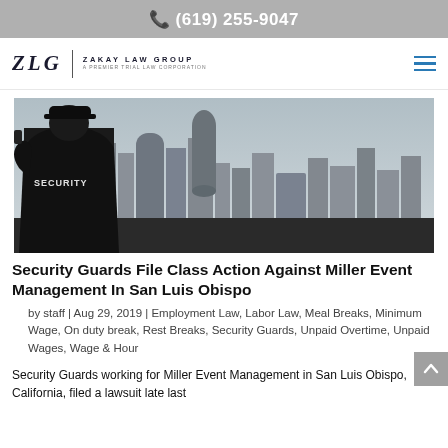(619) 255-9047
[Figure (logo): ZLG Zakay Law Group logo with stylized ZLG letters and firm name]
[Figure (photo): Security guard in black jacket with SECURITY text on back, looking out over a city skyline with modern glass buildings]
Security Guards File Class Action Against Miller Event Management In San Luis Obispo
by staff | Aug 29, 2019 | Employment Law, Labor Law, Meal Breaks, Minimum Wage, On duty break, Rest Breaks, Security Guards, Unpaid Overtime, Unpaid Wages, Wage & Hour
Security Guards working for Miller Event Management in San Luis Obispo, California, filed a lawsuit late last